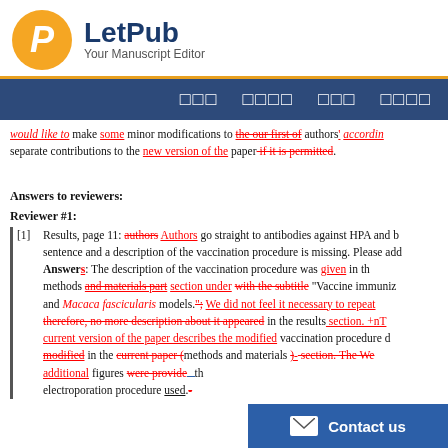[Figure (logo): LetPub logo with orange circle containing italic P and blue LetPub text, subtitle 'Your Manuscript Editor']
Navigation bar with menu items in Chinese characters on dark blue background
would like to make some minor modifications to the our first of authors' according separate contributions to the new version of the paper if it is permitted.
Answers to reviewers:
Reviewer #1:
[1] Results, page 11: authors Authors go straight to antibodies against HPA and b sentence and a description of the vaccination procedure is missing. Please add Answers: The description of the vaccination procedure was given in th methods and materials part section under with the subtitle "Vaccine immuni and Macaca fascicularis models."; We did not feel it necessary to repeat therefore, no more description about it appeared in the results section. +nT current version of the paper describes the modified vaccination procedure d modified in the current paper (methods and materials )- section. The We additional figures were provide th electroporation procedure used.